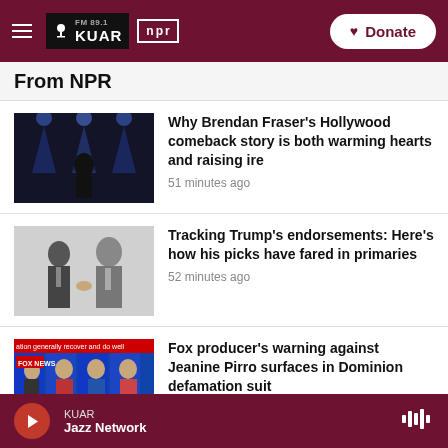FM 89.1 KUAR | NPR | Donate
From NPR
[Figure (photo): Man in suit on stage with stage lighting]
Why Brendan Fraser's Hollywood comeback story is both warming hearts and raising ire
51 minutes ago
[Figure (photo): Two men in suits shaking hands]
Tracking Trump's endorsements: Here's how his picks have fared in primaries
52 minutes ago
[Figure (screenshot): Fox News broadcast screen with banner text 'ation generally recover and do well']
Fox producer's warning against Jeanine Pirro surfaces in Dominion defamation suit
KUAR Jazz Network